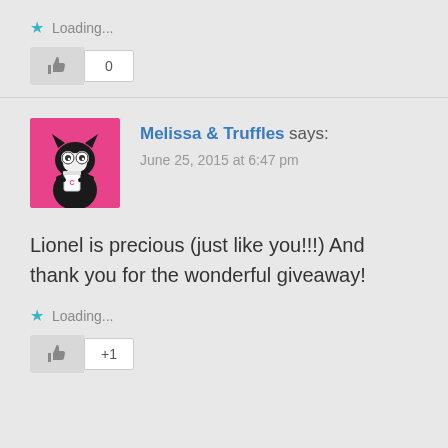Loading...
[Figure (infographic): Thumbs up like button with count 0]
[Figure (photo): Avatar image of Melissa & Truffles: a cartoon cat with googly eyes holding a cup, on a pink background]
Melissa & Truffles says:
June 25, 2015 at 6:47 pm
Lionel is precious (just like you!!!) And thank you for the wonderful giveaway!
Loading...
[Figure (infographic): Thumbs up like button with count +1]